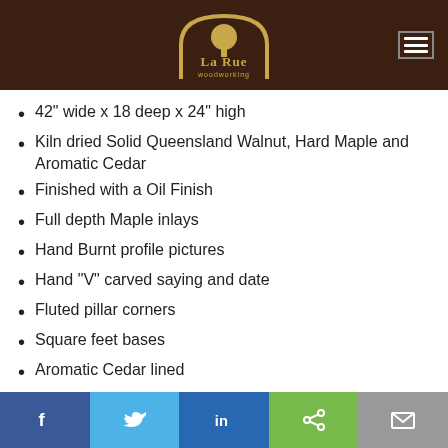La Rue Woodworking
42" wide x 18 deep x 24" high
Kiln dried Solid Queensland Walnut, Hard Maple and Aromatic Cedar
Finished with a Oil Finish
Full depth Maple inlays
Hand Burnt profile pictures
Hand "V" carved saying and date
Fluted pillar corners
Square feet bases
Aromatic Cedar lined
Lockable
Facebook Twitter LinkedIn Share Email